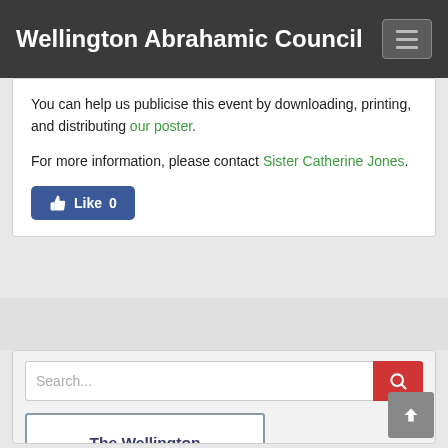Wellington Abrahamic Council
You can help us publicise this event by downloading, printing, and distributing our poster.
For more information, please contact Sister Catherine Jones.
[Figure (other): Facebook Like button showing 0 likes]
[Figure (other): Search bar with red search button]
The Wellington Abrahamic Council of